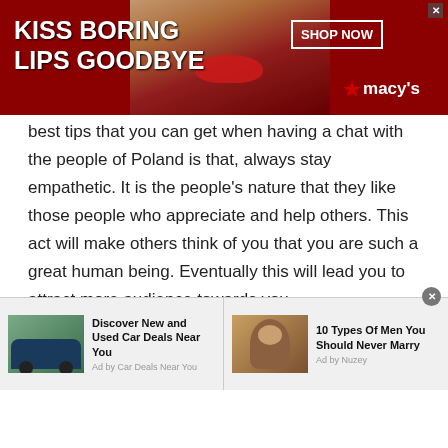[Figure (photo): Advertisement banner: dark red/maroon background with text 'KISS BORING LIPS GOODBYE', a woman's face with red lips in the center, 'SHOP NOW' button in top right, and Macy's star logo.]
best tips that you can get when having a chat with the people of Poland is that, always stay empathetic. It is the people's nature that they like those people who appreciate and help others. This act will make others think of you that you are such a great human being. Eventually this will lead you to attract more audience towards you.
4. Be open about yourself:
Being open about yourself means being honest
[Figure (other): Scroll-to-top button, light blue square with upward chevron arrow]
[Figure (other): Bottom advertisement bar with two ads: 'Discover New and Used Car Deals Near You' (Ad by Car Deals Near You) and '10 Types Of Men You Should Never Marry' (Ad by Nuzey)]